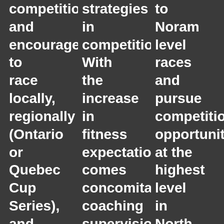competition and encouraged to race locally, regionally (Ontario or Quebec Cup Series), and nationally when appropriate For news about
strategies in competition. With the increase in fitness expectations comes concomitant coaching supervision. For news about the U18 program
to Noram level races and pursue competition opportunities at the highest level in North America. For news about the ENRG